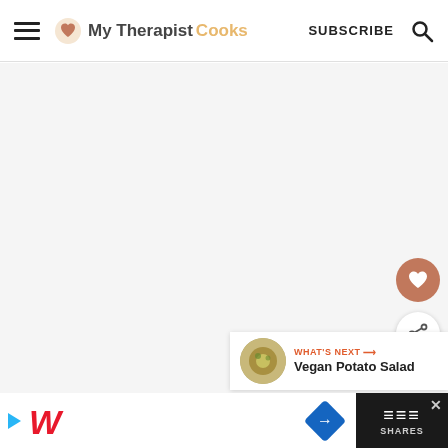My Therapist Cooks — SUBSCRIBE
ADVERTISEMENT
[Figure (other): Pink advertisement banner reading KINDNESS CAN'T BE QUARANTINED]
[Figure (other): Floating heart (save) button and share button on right side]
[Figure (other): What's Next card showing Vegan Potato Salad with thumbnail]
[Figure (other): Bottom advertisement bar with Walgreens logo and navigation icon]